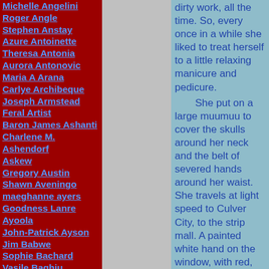Michelle Angelini
Roger Angle
Stephen Anstay
Azure Antoinette
Theresa Antonia
Aurora Antonovic
Maria A Arana
Carlye Archibeque
Joseph Armstead
Feral Artist
Baron James Ashanti
Charlene M. Ashendorf
Askew
Gregory Austin
Shawn Aveningo
maeghanne ayers
Goodness Lanre Ayoola
John-Patrick Ayson
Jim Babwe
Sophie Bachard
Vasile Baghiu
Bridget Bagne
dirty work, all the time. So, every once in a while she liked to treat herself to a little relaxing manicure and pedicure.
	She put on a large muumuu to cover the skulls around her neck and the belt of severed hands around her waist. She travels at light speed to Culver City, to the strip mall. A painted white hand on the window, with red, red nails invites her inside. She sits, relaxed, in a black leather chair as world-weary feet are